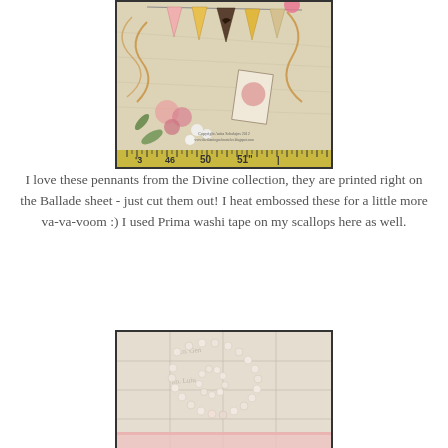[Figure (photo): Close-up photo of decorative pennant banners from the Divine collection printed on Ballade sheet paper, with vintage floral and bird motifs, pink flowers, and a ruler visible at the bottom edge. Copyright Anita Scholajns 2012 www.theflamingochronicles.blogspot.com]
I love these pennants from the Divine collection, they are printed right on the Ballade sheet - just cut them out! I heat embossed these for a little more va-va-voom :) I used Prima washi tape on my scallops here as well.
[Figure (photo): Photo of pearl bead strands arranged in a decorative pattern on a vintage script/ledger paper background with pink ribbon visible at the bottom.]